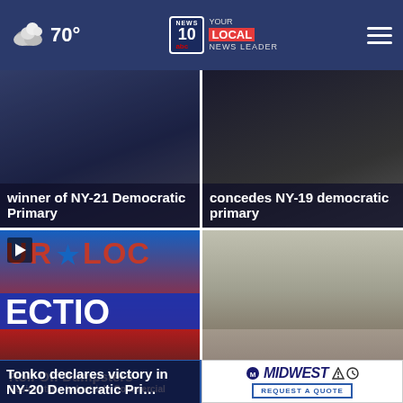70° | NEWS 10 YOUR LOCAL NEWS LEADER
[Figure (screenshot): News card top-left: winner of NY-21 Democratic Primary]
winner of NY-21 Democratic Primary
[Figure (screenshot): News card top-right: concedes NY-19 democratic primary]
concedes NY-19 democratic primary
[Figure (screenshot): News card bottom-left: Tonko declares victory in NY-20 Democratic Primary, with UR LOC ECTIO graphic]
Tonko declares victory in NY-20 Democratic Pri…
[Figure (screenshot): News card bottom-right: Cohoes road closed for 'The Gilded Ag…' with street scene photo]
Cohoes road closed for 'The Gilded Ag ×
Roll-Off Dumpsters
Residential • Industrial • Commercial
[Figure (logo): Midwest logo with REQUEST A QUOTE button]